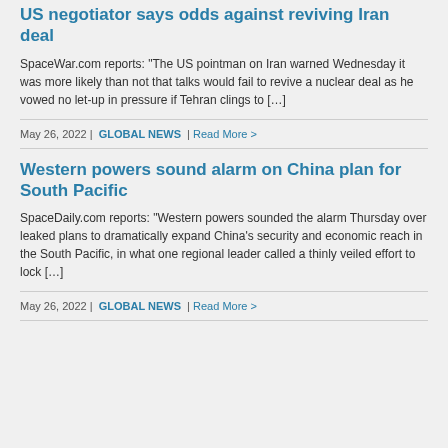US negotiator says odds against reviving Iran deal
SpaceWar.com reports: “The US pointman on Iran warned Wednesday it was more likely than not that talks would fail to revive a nuclear deal as he vowed no let-up in pressure if Tehran clings to […]
May 26, 2022 |  GLOBAL NEWS  | Read More >
Western powers sound alarm on China plan for South Pacific
SpaceDaily.com reports: “Western powers sounded the alarm Thursday over leaked plans to dramatically expand China’s security and economic reach in the South Pacific, in what one regional leader called a thinly veiled effort to lock […]
May 26, 2022 |  GLOBAL NEWS  | Read More >